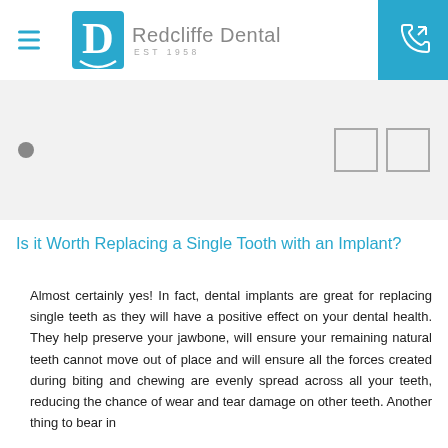Redcliffe Dental EST 1958
[Figure (logo): Redcliffe Dental logo with stylized blue tooth/letter D icon and text 'Redcliffe Dental EST 1958']
[Figure (infographic): Slider/carousel navigation area with a filled grey dot indicator on the left and two square arrow navigation buttons on the right]
Is it Worth Replacing a Single Tooth with an Implant?
Almost certainly yes! In fact, dental implants are great for replacing single teeth as they will have a positive effect on your dental health. They help preserve your jawbone, will ensure your remaining natural teeth cannot move out of place and will ensure all the forces created during biting and chewing are evenly spread across all your teeth, reducing the chance of wear and tear damage on other teeth. Another thing to bear in